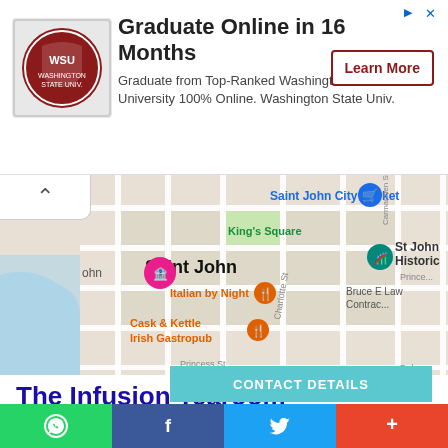[Figure (infographic): Advertisement banner for Washington State University online graduate program. Shows WSU logo, headline 'Graduate Online in 16 Months', body text, and 'Learn More' button.]
[Figure (map): Google Maps view of Saint John city center showing Saint John City Market, King's Square, Italian by Night, Cask & Kettle Irish Gastropub, St John Historic site, and street labels including Princess St, Charlotte St, and Carmarthen St.]
The Infusion Tearoom
41 Charlotte St, Saint John, NB E2L 2H7, Canada
Location: (45.2741303, -66.0592556)
Rating: 4.8/5 ★★★★★ (24) Votes
[Figure (infographic): Social sharing bar at bottom with WhatsApp, Facebook, Twitter, and More (+) buttons.]